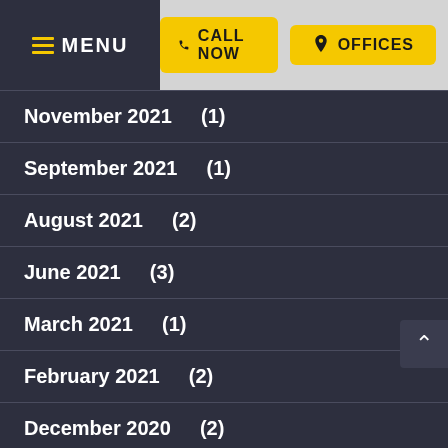MENU | CALL NOW | OFFICES
November 2021 (1)
September 2021 (1)
August 2021 (2)
June 2021 (3)
March 2021 (1)
February 2021 (2)
December 2020 (2)
October 2020 (2)
September 2020 (1)
August 2020 (1)
July 2020 (1)